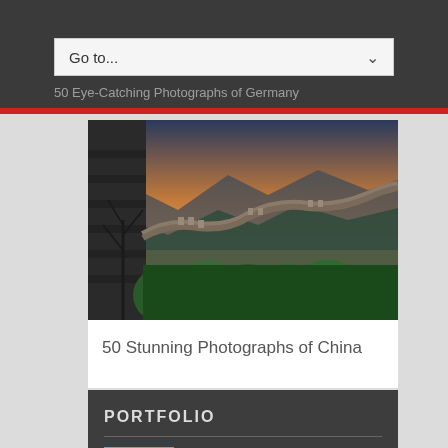Go to...
50 Eye-Catching Photographs of Germany
[Figure (photo): Aerial/perspective photograph of the Great Wall of China winding through green forested mountains at sunset/dusk, stone wall in foreground]
50 Stunning Photographs of China
PORTFOLIO
[Figure (illustration): Cartoon/illustrated thumbnail of children characters sitting at a picnic table outdoors]
5 Unique gift ideas for kids
April 1, 2020